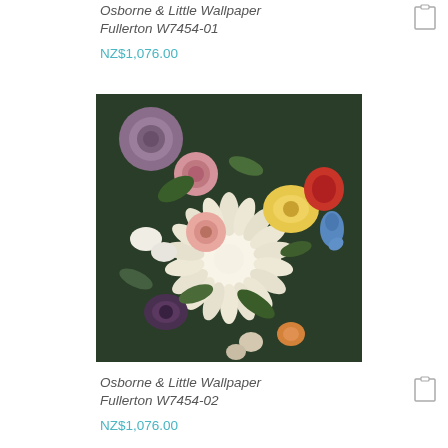Osborne & Little Wallpaper Fullerton W7454-01
NZ$1,076.00
[Figure (photo): Close-up photograph of a dense floral arrangement wallpaper featuring roses, chrysanthemums, peonies, and various other flowers in pink, white, yellow, red, purple, and green tones with a bird visible on the right side.]
Osborne & Little Wallpaper Fullerton W7454-02
NZ$1,076.00